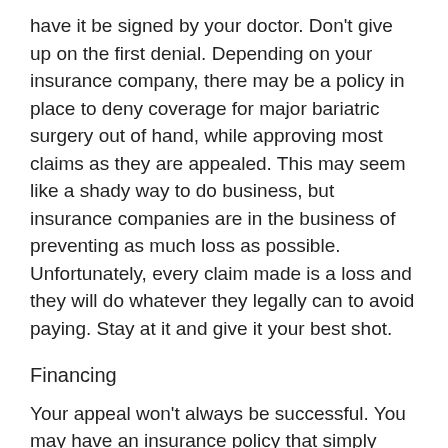have it be signed by your doctor. Don't give up on the first denial. Depending on your insurance company, there may be a policy in place to deny coverage for major bariatric surgery out of hand, while approving most claims as they are appealed. This may seem like a shady way to do business, but insurance companies are in the business of preventing as much loss as possible. Unfortunately, every claim made is a loss and they will do whatever they legally can to avoid paying. Stay at it and give it your best shot.
Financing
Your appeal won't always be successful. You may have an insurance policy that simply won't cover bariatric surgery under any circumstances. You'll need to find the money from another source. Thankfully, many surgeons understand that this puts their patients in a difficult financial position. Many offices provide financing options patients can take advantage of. It is usually much easier to make regular payments than to finance a surgical